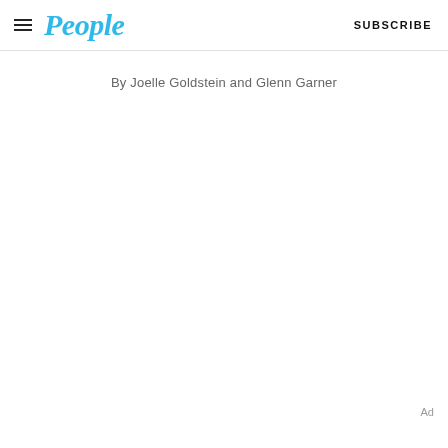People | SUBSCRIBE
By Joelle Goldstein and Glenn Garner
Ad